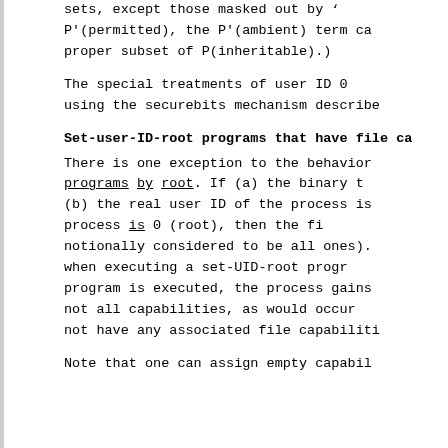sets, except those masked out by ‘P’(permitted), the P'(ambient) term can proper subset of P(inheritable).)
The special treatments of user ID 0 using the securebits mechanism described
Set-user-ID-root programs that have file capabilities
There is one exception to the behavior programs by root. If (a) the binary that (b) the real user ID of the process is process is 0 (root), then the file notionally considered to be all ones). when executing a set-UID-root program program is executed, the process gains not all capabilities, as would occur not have any associated file capabilities
Note that one can assign empty capabilities